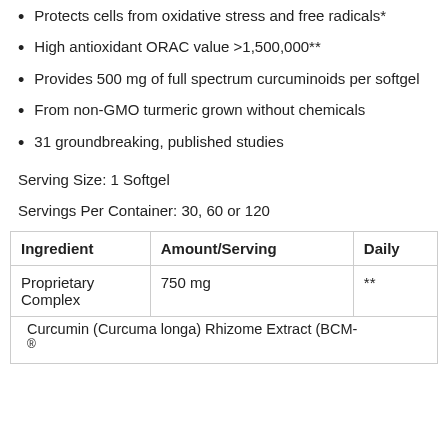Protects cells from oxidative stress and free radicals*
High antioxidant ORAC value >1,500,000**
Provides 500 mg of full spectrum curcuminoids per softgel
From non-GMO turmeric grown without chemicals
31 groundbreaking, published studies
Serving Size: 1 Softgel
Servings Per Container: 30, 60 or 120
| Ingredient | Amount/Serving | Daily |
| --- | --- | --- |
| Proprietary Complex | 750 mg | ** |
| Curcumin (Curcuma longa) Rhizome Extract (BCM-
® |  |  |